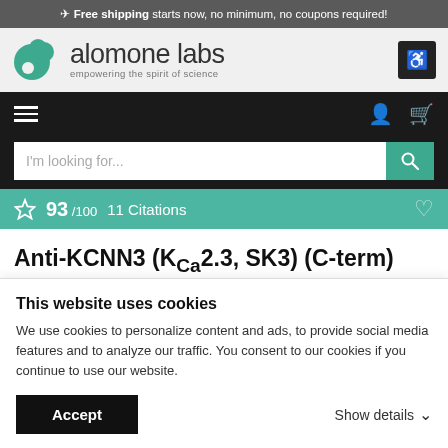✈ Free shipping starts now, no minimum, no coupons required!
[Figure (logo): Alomone Labs logo — teal speech-bubble/leaf icon with text 'alomone labs' and tagline 'empowering the spirit of science']
93 /100   11 Citations
Anti-KCNN3 (KCa2.3, SK3) (C-term) Antibody
Small conductance calcium-activated potassium
This website uses cookies
We use cookies to personalize content and ads, to provide social media features and to analyze our traffic. You consent to our cookies if you continue to use our website.
Accept
Show details